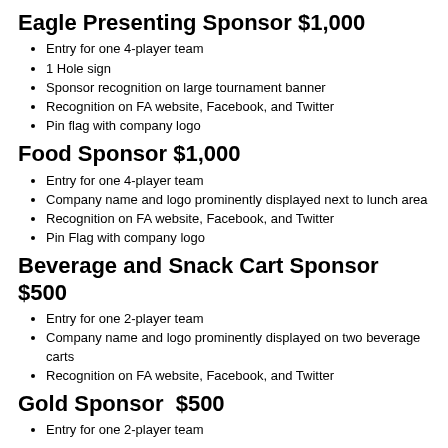Eagle Presenting Sponsor $1,000
Entry for one 4-player team
1 Hole sign
Sponsor recognition on large tournament banner
Recognition on FA website, Facebook, and Twitter
Pin flag with company logo
Food Sponsor $1,000
Entry for one 4-player team
Company name and logo prominently displayed next to lunch area
Recognition on FA website, Facebook, and Twitter
Pin Flag with company logo
Beverage and Snack Cart Sponsor $500
Entry for one 2-player team
Company name and logo prominently displayed on two beverage carts
Recognition on FA website, Facebook, and Twitter
Gold Sponsor  $500
Entry for one 2-player team